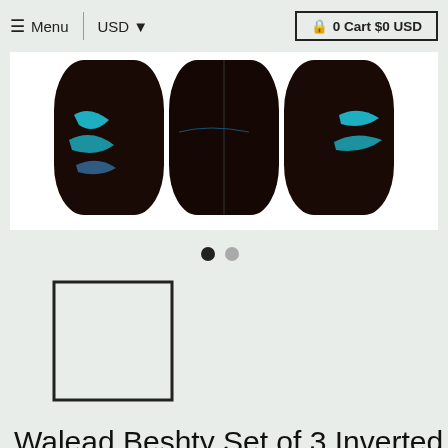≡ Menu  |  USD ▾  |  🔒 0 Cart $0 USD
[Figure (photo): Three inverted skateboards or similar objects with dark brown/black surfaces and teal/blue markings, displayed side by side on a white background]
[Figure (illustration): Two pagination dots: one black (active), one gray (inactive)]
[Figure (illustration): A thumbnail image placeholder: empty white square with black border outline]
Walead Beshty Set of 3 Inverted RA4...